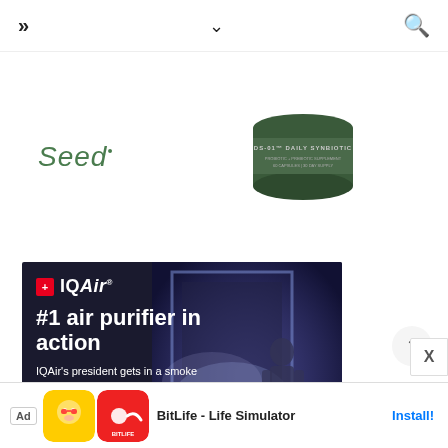>> navigation | ∨ | 🔍
[Figure (photo): Seed brand advertisement showing a dark green cylindrical container labeled 'DS-01 DAILY SYNBIOTIC' with the Seed logo in green italic text on the left]
[Figure (photo): IQAir advertisement with dark background showing: IQAir logo with red Swiss cross, headline '#1 air purifier in action', subtext 'IQAir's president gets in a smoke chamber. Can one IQAir air purifier protect him?', blue 'Watch Now' button, and a photo of a person in a smoke-filled chamber]
BitLife - Life Simulator
Install!